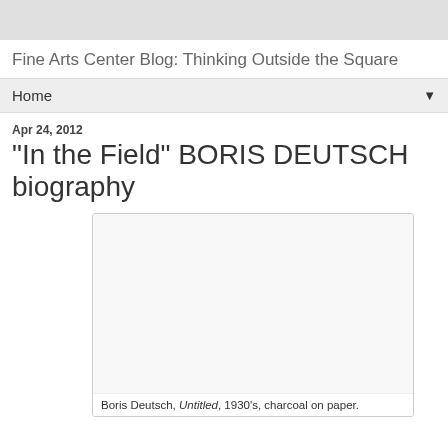Fine Arts Center Blog: Thinking Outside the Square
Home
Apr 24, 2012
"In the Field" BORIS DEUTSCH biography
[Figure (photo): A framed artwork image area, mostly white/light, shown as a placeholder image]
Boris Deutsch, Untitled, 1930's, charcoal on paper.